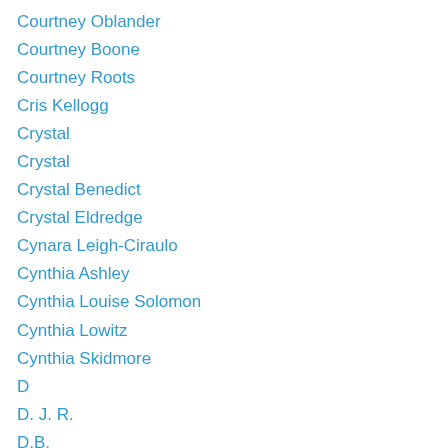Courtney Oblander
Courtney Boone
Courtney Roots
Cris Kellogg
Crystal
Crystal
Crystal Benedict
Crystal Eldredge
Cynara Leigh-Ciraulo
Cynthia Ashley
Cynthia Louise Solomon
Cynthia Lowitz
Cynthia Skidmore
D
D. J. R.
D.B.
D.I.
Daisy
Dalbin Osorio
Dale